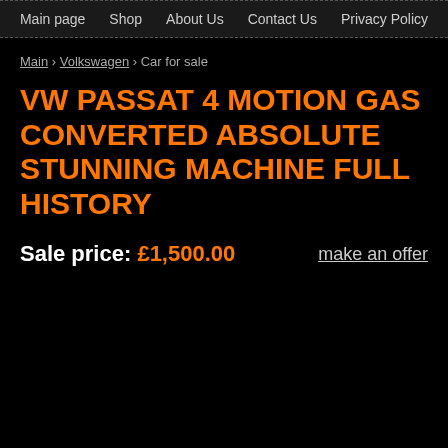Main page  Shop  About Us  Contact Us  Privacy Policy
Main › Volkswagen › Car for sale
VW PASSAT 4 MOTION GAS CONVERTED ABSOLUTE STUNNING MACHINE FULL HISTORY
Sale price: £1,500.00    make an offer